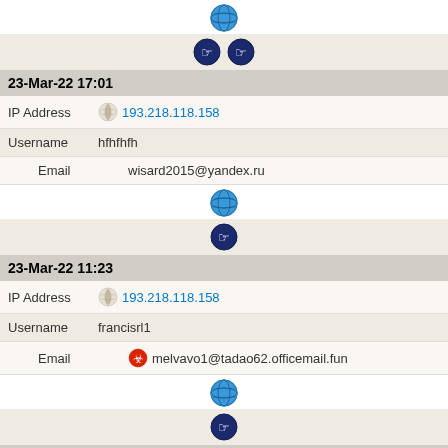[Figure (screenshot): Globe icon (green earth)]
[Figure (screenshot): Two hand pointer icons in beige row]
23-Mar-22 17:01
IP Address  193.218.118.158
Username  hfhfhfh
Email  wisard2015@yandex.ru
[Figure (screenshot): Globe icon (green earth)]
[Figure (screenshot): One hand pointer icon in beige row]
23-Mar-22 11:23
IP Address  193.218.118.158
Username  francisrl1
Email  melvavo1@tadao62.officemail.fun
[Figure (screenshot): Globe icon (green earth)]
[Figure (screenshot): One hand pointer icon in beige row]
23-Mar-22 04:42
IP Address  193.218.118.158
Username  yhcmwqwtqy